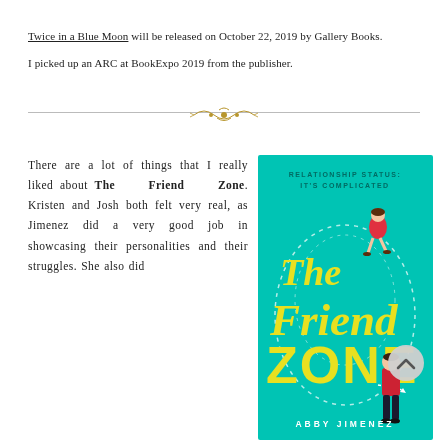Twice in a Blue Moon will be released on October 22, 2019 by Gallery Books.
I picked up an ARC at BookExpo 2019 from the publisher.
[Figure (illustration): Decorative golden floral ornament divider]
There are a lot of things that I really liked about The Friend Zone. Kristen and Josh both felt very real, as Jimenez did a very good job in showcasing their personalities and their struggles. She also did
[Figure (photo): Book cover of 'The Friend Zone' by Abby Jimenez — teal background with yellow title text and two illustrated characters, tagline 'RELATIONSHIP STATUS: IT'S COMPLICATED']